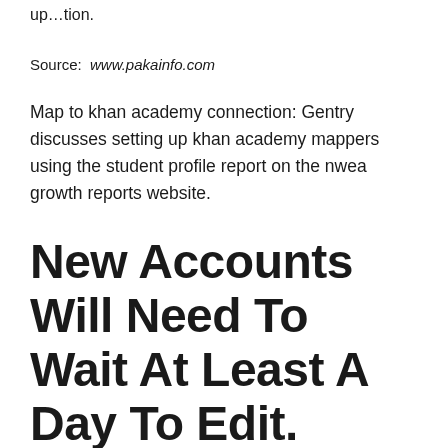up…tion.
Source: www.pakainfo.com
Map to khan academy connection: Gentry discusses setting up khan academy mappers using the student profile report on the nwea growth reports website.
New Accounts Will Need To Wait At Least A Day To Edit.
100% free on iphone, ipad, android, and amazon I'll do my best to answer your questions. How to input your data into khan